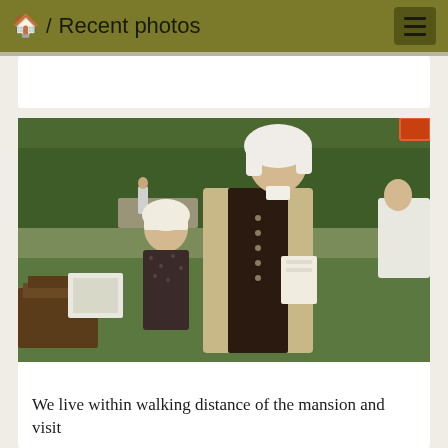🏠 / Recent photos
[Figure (photo): A young girl in a colonial-era white bonnet and dark floral dress stands beside a tall man dressed in colonial-era costume including a tan long coat, dark vest, white wig, and white cravat holding papers. They are outdoors on a grassy area with trees in the background. Other people are visible in the background.]
We live within walking distance of the mansion and visit